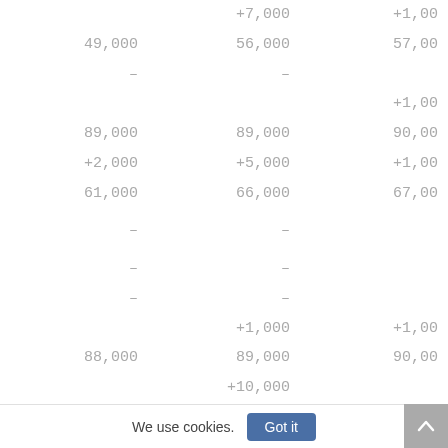| Col1 | Col2 | Col3 |
| --- | --- | --- |
| +7,000 | +1,00 |  |
| 49,000 | 56,000 | 57,00 |
| – | – |  |
|  |  | +1,00 |
| 89,000 | 89,000 | 90,00 |
| +2,000 | +5,000 | +1,00 |
| 61,000 | 66,000 | 67,00 |
|  |  |  |
| – | – |  |
|  |  |  |
| – | – |  |
| – | – |  |
|  | +1,000 | +1,00 |
| 88,000 | 89,000 | 90,00 |
|  | +10,000 |  |
| 75,000 | 85,000 | 85,00 |
|  | +1,000 | +2,00 |
We use cookies.
Got it